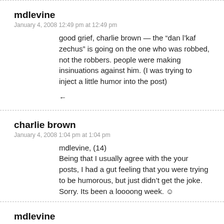mdlevine
January 4, 2008 12:49 pm at 12:49 pm
good grief, charlie brown — the “dan l’kaf zechus” is going on the one who was robbed, not the robbers. people were making insinuations against him. (I was trying to inject a little humor into the post)
←
charlie brown
January 4, 2008 1:04 pm at 1:04 pm
mdlevine, (14)
Being that I usually agree with the your posts, I had a gut feeling that you were trying to be humorous, but just didn’t get the joke. Sorry. Its been a loooong week. ☺
mdlevine